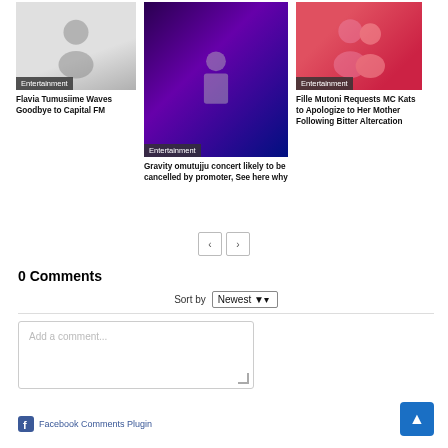[Figure (photo): Black and white photo of Flavia Tumusiime with Entertainment badge]
Flavia Tumusiime Waves Goodbye to Capital FM
[Figure (photo): Photo of Gravity Omutujju at concert with purple background, Entertainment badge]
Gravity omutujju concert likely to be cancelled by promoter, See here why
[Figure (photo): Photo of Fille Mutoni with another person, Entertainment badge]
Fille Mutoni Requests MC Kats to Apologize to Her Mother Following Bitter Altercation
0 Comments
Sort by Newest
Add a comment...
Facebook Comments Plugin